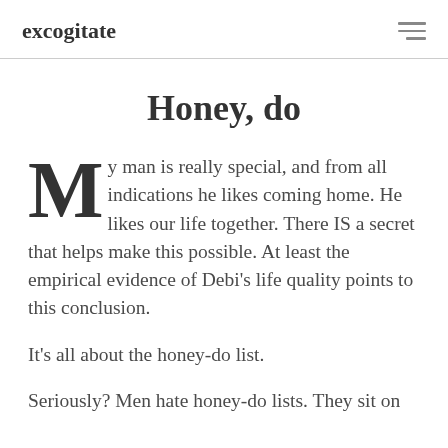excogitate
Honey, do
My man is really special, and from all indications he likes coming home. He likes our life together. There IS a secret that helps make this possible. At least the empirical evidence of Debi’s life quality points to this conclusion.
It’s all about the honey-do list.
Seriously? Men hate honey-do lists. They sit on